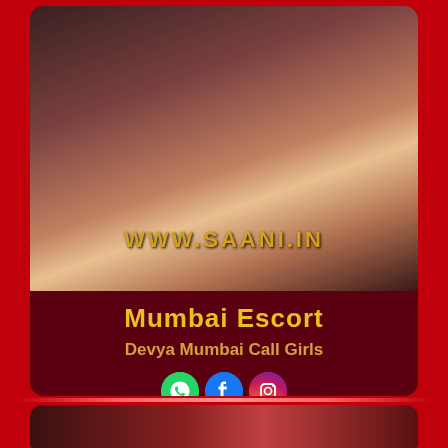[Figure (photo): Photo of a person with watermark text WWW.SAANI.IN overlaid in gold letters]
Mumbai Escort
Devya Mumbai Call Girls
[Figure (infographic): Social media icons: WhatsApp (green), Facebook (blue), Instagram (gradient)]
[Figure (photo): Partial photo visible at bottom of page, partially cut off]